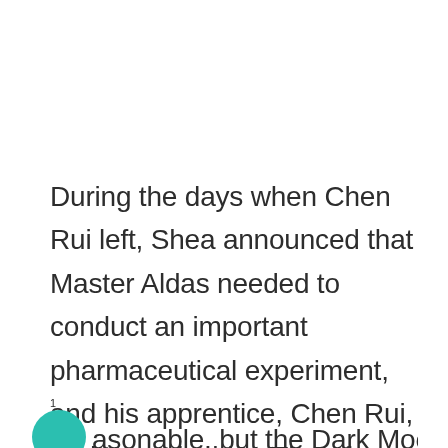During the days when Chen Rui left, Shea announced that Master Aldas needed to conduct an important pharmaceutical experiment, and his apprentice, Chen Rui, had to assist him. Therefore, the financial officer's position was temporarily assigned to the Old Gauss. This excuse was indeed
1
asonable, but the Dark Moon's economy